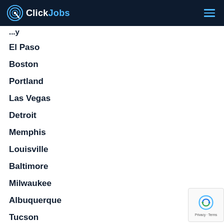ClickJobs
El Paso
Boston
Portland
Las Vegas
Detroit
Memphis
Louisville
Baltimore
Milwaukee
Albuquerque
Tucson
Fresno